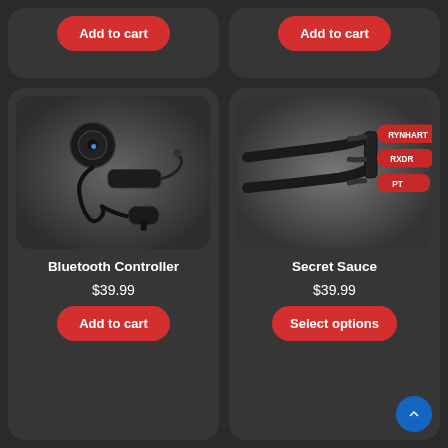[Figure (screenshot): Top-left partial product card showing Add to cart button (cropped, top of page)]
[Figure (screenshot): Top-right partial product card showing Add to cart button (cropped, top of page)]
[Figure (photo): Bluetooth car kit controller with car charger and audio cable on dark background]
Bluetooth Controller
$39.99
Add to cart
[Figure (photo): Red and black cable bundle (Secret Sauce product) on dark background]
Secret Sauce
$39.99
Select options